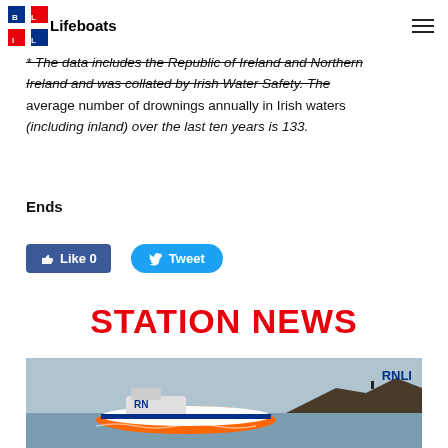RNLI Lifeboats
safety messages and advice.
* The data includes the Republic of Ireland and Northern Ireland and was collated by Irish Water Safety. The average number of drownings annually in Irish waters (including inland) over the last ten years is 133.
Ends
[Figure (screenshot): Facebook Like button showing 'Like 0' and Twitter Tweet button]
STATION NEWS
[Figure (photo): RNLI lifeboat on water with rocky coastline in background, RNLI badge in top right corner]